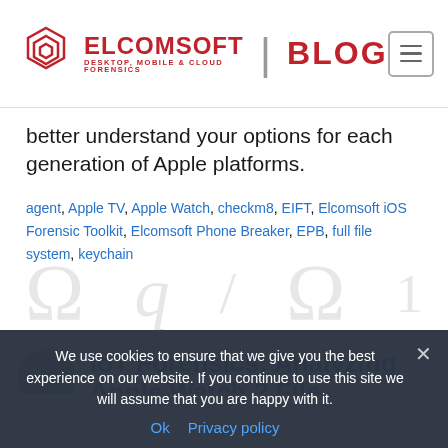ELCOMSOFT | BLOG — DESKTOP, MOBILE & CLOUD FORENSICS
better understand your options for each generation of Apple platforms.
agent, Apple TV, Apple Watch, checkm8, EIFT, Elcomsoft iOS Forensic Toolkit, Elcomsoft Phone Breaker, EPB, full file system, keychain
IoT Forensics: Analyzing Apple Watch 2 File…
We use cookies to ensure that we give you the best experience on our website. If you continue to use this site we will assume that you are happy with it.
Ok   Privacy policy